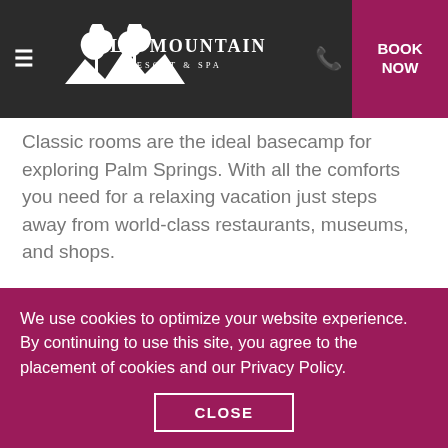Palm Mountain Resort & Spa — BOOK NOW
Classic rooms are the ideal basecamp for exploring Palm Springs. With all the comforts you need for a relaxing vacation just steps away from world-class restaurants, museums, and shops.
Amenities/Features
260 square feet
40” flat-screen television with 70 channels including HBO
One king or two double beds with pillow
We use cookies to optimize your website experience. By continuing to use this site, you agree to the placement of cookies and our Privacy Policy.